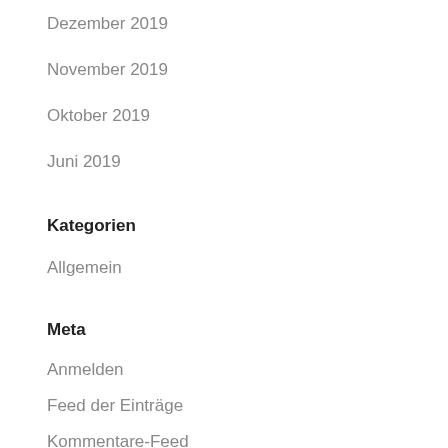Dezember 2019
November 2019
Oktober 2019
Juni 2019
Kategorien
Allgemein
Meta
Anmelden
Feed der Einträge
Kommentare-Feed
WordPress.org